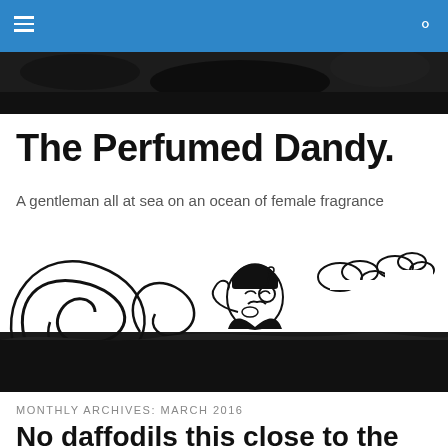The Perfumed Dandy.
A gentleman all at sea on an ocean of female fragrance
[Figure (illustration): Black and white ink illustration of a dandy gentleman with a monocle blowing decorative swirling smoke or fragrance from his mouth, with cloud-like puffs floating around him]
MONTHLY ARCHIVES: MARCH 2016
No daffodils this close to the desert Ajar by L'Orientialiste Marocaine